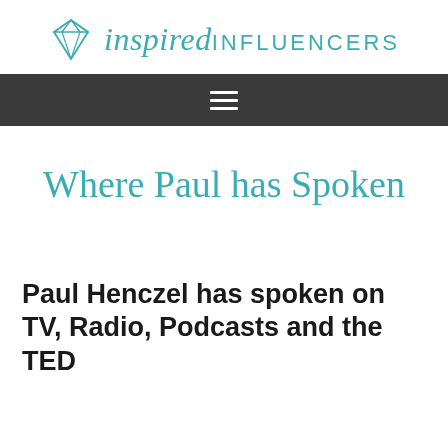inspired INFLUENCERS
[Figure (logo): Inspired Influencers logo with a teal diamond gem icon, italic 'inspired' text and uppercase 'INFLUENCERS' text in teal]
[Figure (other): Dark gray navigation bar with a white hamburger menu icon (three horizontal lines)]
Where Paul has Spoken
Paul Henczel has spoken on TV, Radio, Podcasts and the TED...